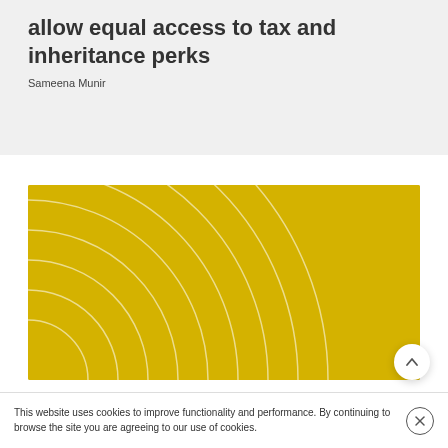allow equal access to tax and inheritance perks
Sameena Munir
[Figure (illustration): Yellow/gold rectangular card with white concentric arc lines emanating from the bottom-left corner, creating a decorative radiating pattern on a golden yellow background.]
BLOG
This website uses cookies to improve functionality and performance. By continuing to browse the site you are agreeing to our use of cookies.